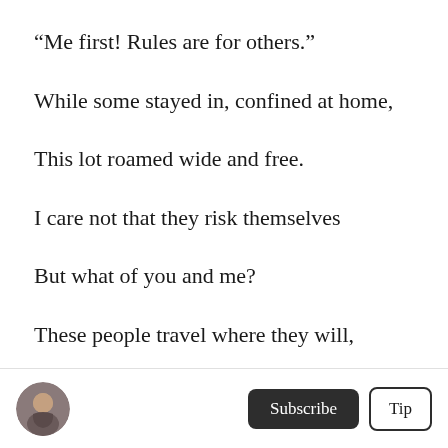“Me first! Rules are for others.”
While some stayed in, confined at home,
This lot roamed wide and free.
I care not that they risk themselves
But what of you and me?
These people travel where they will,
T— (partial, cut off)
Subscribe | Tip